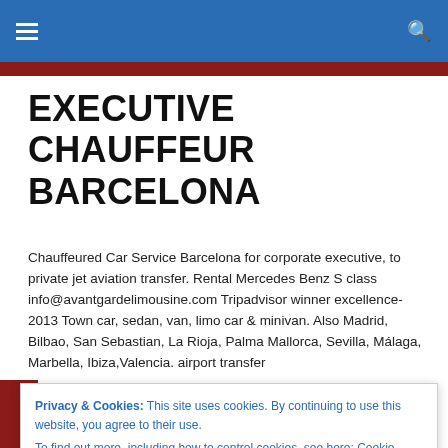≡  🔍
EXECUTIVE CHAUFFEUR BARCELONA
Chauffeured Car Service Barcelona for corporate executive, to private jet aviation transfer. Rental Mercedes Benz S class info@avantgardelimousine.com Tripadvisor winner excellence-2013 Town car, sedan, van, limo car & minivan. Also Madrid, Bilbao, San Sebastian, La Rioja, Palma Mallorca, Sevilla, Málaga, Marbella, Ibiza,Valencia. airport transfer
Privacy & Cookies: This site uses cookies. By continuing to use this website, you agree to their use.
To find out more, including how to control cookies, see here: Cookie Policy
The first ice cream store of the Roca brothers in